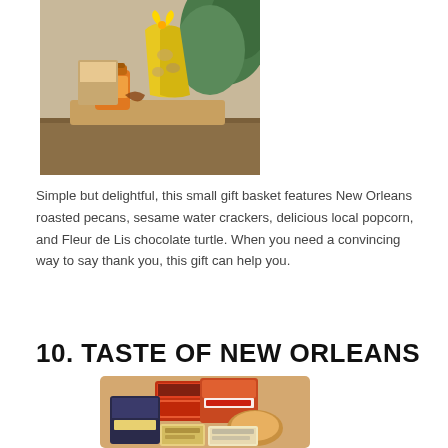[Figure (photo): A small gift basket with New Orleans roasted pecans, sesame water crackers, popcorn in a yellow bag, a jar of sauce, and a Fleur de Lis chocolate turtle, displayed on a table with green plants in the background.]
Simple but delightful, this small gift basket features New Orleans roasted pecans, sesame water crackers, delicious local popcorn, and Fleur de Lis chocolate turtle. When you need a convincing way to say thank you, this gift can help you.
10. TASTE OF NEW ORLEANS
[Figure (photo): A collection of New Orleans food products including Cajun Crunc, Red Beans, and other local food packages arranged together in a gift basket.]